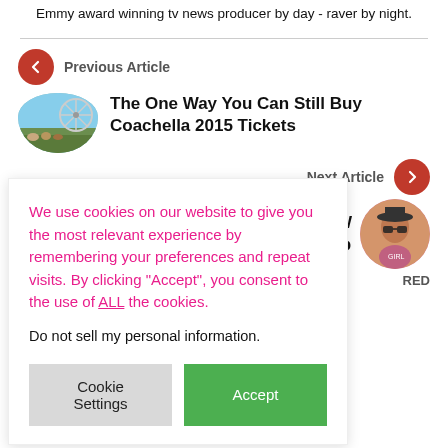Emmy award winning tv news producer by day - raver by night.
Previous Article
[Figure (photo): Thumbnail of outdoor festival scene with large inflatable character]
The One Way You Can Still Buy Coachella 2015 Tickets
Next Article
[Figure (photo): Circular thumbnail of woman with sunglasses at festival]
We use cookies on our website to give you the most relevant experience by remembering your preferences and repeat visits. By clicking “Accept”, you consent to the use of ALL the cookies.
Do not sell my personal information.
Cookie Settings
Accept